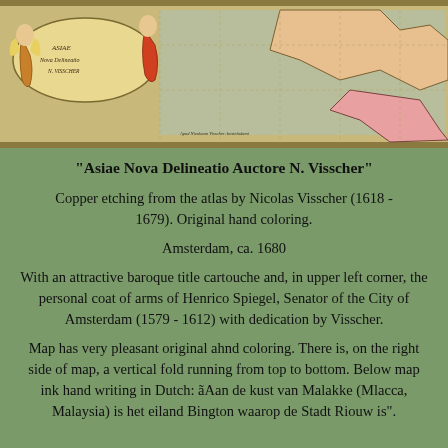[Figure (map): Antique map of Asia 'Asiae Nova Delineatio Auctore N. Visscher', copper etching with original hand coloring, showing baroque title cartouche and coat of arms in upper left corner, Amsterdam ca. 1680.]
"Asiae Nova Delineatio Auctore N. Visscher"
Copper etching from the atlas by Nicolas Visscher (1618 - 1679). Original hand coloring.
Amsterdam, ca. 1680
With an attractive baroque title cartouche and, in upper left corner, the personal coat of arms of Henrico Spiegel, Senator of the City of Amsterdam (1579 - 1612) with dedication by Visscher.
Map has very pleasant original ahnd coloring. There is, on the right side of map, a vertical fold running from top to bottom. Below map ink hand writing in Dutch: ãAan de kust van Malakke (Mlacca, Malaysia) is het eiland Bington waarop de Stadt Riouw is".